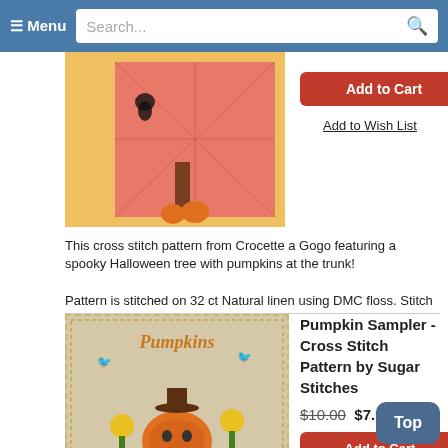≡ Menu  Search...
[Figure (photo): Cross stitch pattern showing a Halloween scene with spooky tree, pumpkins, black cat on pink/salmon background with gold frame]
Add to Cart
Add to Wish List
This cross stitch pattern from Crocette a Gogo featuring a spooky Halloween tree with pumpkins at the trunk!
Pattern is stitched on 32 ct Natural linen using DMC floss. Stitch count is 122 x 163.
[Figure (photo): Cross stitch pattern showing Pumpkin Sampler with pumpkins, sunflowers, scarecrow, birds and text 'Pumpkins' on tan/beige fabric with dotted border]
Pumpkin Sampler - Cross Stitch Pattern by Sugar Stitches
$10.00 $7.99
Add to Cart
Add to Wish List